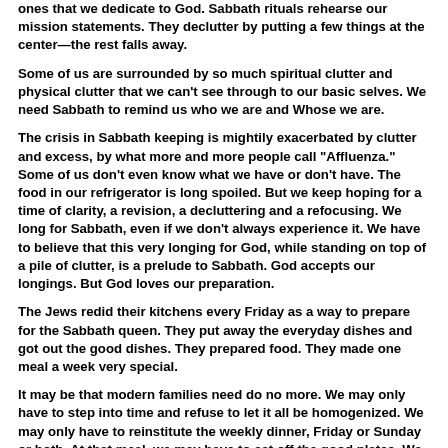ones that we dedicate to God. Sabbath rituals rehearse our mission statements. They declutter by putting a few things at the center—the rest falls away.
Some of us are surrounded by so much spiritual clutter and physical clutter that we can't see through to our basic selves. We need Sabbath to remind us who we are and Whose we are.
The crisis in Sabbath keeping is mightily exacerbated by clutter and excess, by what more and more people call "Affluenza." Some of us don't even know what we have or don't have. The food in our refrigerator is long spoiled. But we keep hoping for a time of clarity, a revision, a decluttering and a refocusing. We long for Sabbath, even if we don't always experience it. We have to believe that this very longing for God, while standing on top of a pile of clutter, is a prelude to Sabbath. God accepts our longings. But God loves our preparation.
The Jews redid their kitchens every Friday as a way to prepare for the Sabbath queen. They put away the everyday dishes and got out the good dishes. They prepared food. They made one meal a week very special.
It may be that modern families need do no more. We may only have to step into time and refuse to let it all be homogenized. We may only have to reinstitute the weekly dinner, Friday or Sunday or both. At that meal, we may have to eat off the good plates. We may only have to carry around our own cup—and refuse to eat out of paper, as a way of slowing ourselves down, and salting ourselves, and